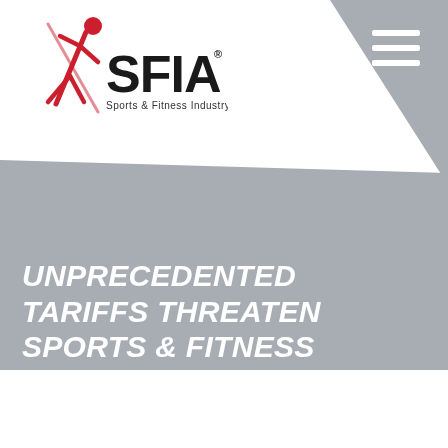[Figure (logo): SFIA Sports & Fitness Industry Association logo with a red running figure icon and black SFIA text]
UNPRECEDENTED TARIFFS THREATEN SPORTS & FITNESS INDUSTRY